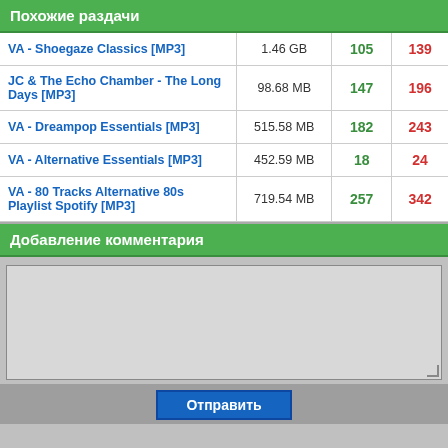Похожие раздачи
|  |  |  |  |
| --- | --- | --- | --- |
| VA - Shoegaze Classics [MP3] | 1.46 GB | 105 | 139 |
| JC & The Echo Chamber - The Long Days [MP3] | 98.68 MB | 147 | 196 |
| VA - Dreampop Essentials [MP3] | 515.58 MB | 182 | 243 |
| VA - Alternative Essentials [MP3] | 452.59 MB | 18 | 24 |
| VA - 80 Tracks Alternative 80s Playlist Spotify [MP3] | 719.54 MB | 257 | 342 |
Добавление комментария
[textarea input area]
Отправить